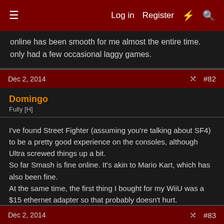≡  Log in  Register  ⚡  🔍
online has been smooth for me almost the entire time. only had a few occasional laggy games.
Dec 2, 2014  #82
Domingo
Fully [H]
I've found Street Fighter (assuming you're talking about SF4) to be a pretty good experience on the consoles, although Ultra screwed things up a bit.
So far Smash is fine online. It's akin to Mario Kart, which has also been fine.
At the same time, the first thing I bought for my WiiU was a $15 ethernet adapter so that probably doesn't hurt.
Dec 2, 2014  #83